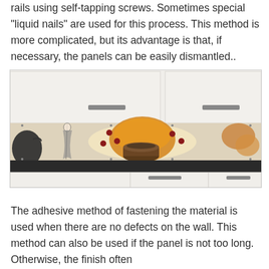rails using self-tapping screws. Sometimes special "liquid nails" are used for this process. This method is more complicated, but its advantage is that, if necessary, the panels can be easily dismantled..
[Figure (photo): Kitchen interior showing decorative glass backsplash panel with Asian-themed artwork (geisha figure, tea items, berries) between white upper and lower cabinets with a dark countertop]
The adhesive method of fastening the material is used when there are no defects on the wall. This method can also be used if the panel is not too long. Otherwise, the finish often